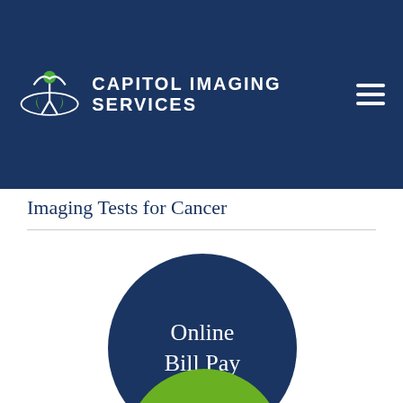[Figure (logo): Capitol Imaging Services logo with navigation header on dark blue background, including hamburger menu icon]
Imaging Tests for Cancer
[Figure (infographic): Dark blue circle button with white text reading 'Online Bill Pay']
[Figure (infographic): Green circle partially visible at bottom of page]